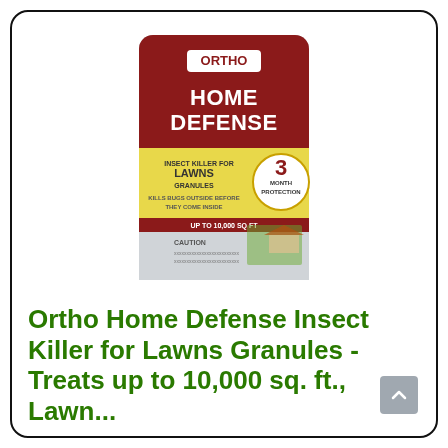[Figure (photo): Ortho Home Defense Insect Killer for Lawns Granules product bag - dark red/maroon bag with yellow accent stripe, showing '3 Month Protection' badge, with image of house and lawn on the packaging.]
Ortho Home Defense Insect Killer for Lawns Granules - Treats up to 10,000 sq. ft., Lawn...
Ortho Home Defense Insect Killer for Lawns Granules is an outdoor insect...